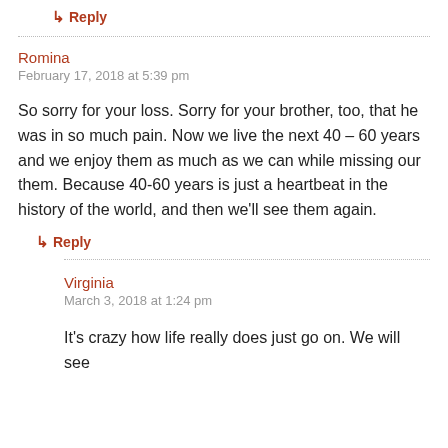↳ Reply
Romina
February 17, 2018 at 5:39 pm
So sorry for your loss. Sorry for your brother, too, that he was in so much pain. Now we live the next 40 – 60 years and we enjoy them as much as we can while missing our them. Because 40-60 years is just a heartbeat in the history of the world, and then we'll see them again.
↳ Reply
Virginia
March 3, 2018 at 1:24 pm
It's crazy how life really does just go on. We will see